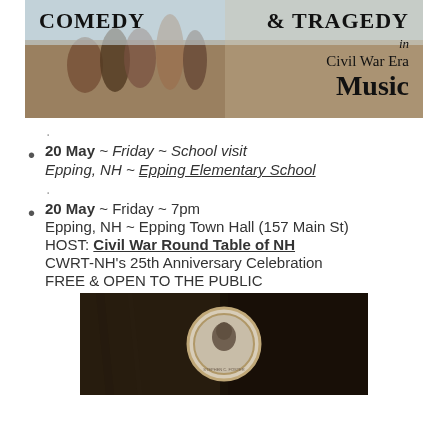[Figure (illustration): Banner image with historical painting background showing figures, with text overlay: COMEDY & TRAGEDY in Civil War Era Music]
.
20 May ~ Friday ~ School visit
Epping, NH ~ Epping Elementary School
.
20 May ~ Friday ~ 7pm
Epping, NH ~ Epping Town Hall (157 Main St)
HOST: Civil War Round Table of NH
CWRT-NH's 25th Anniversary Celebration
FREE & OPEN TO THE PUBLIC
[Figure (photo): Dark sepia-toned photo showing a medallion/award with a portrait of a person (Stephen C. Foster) on dark fabric background]